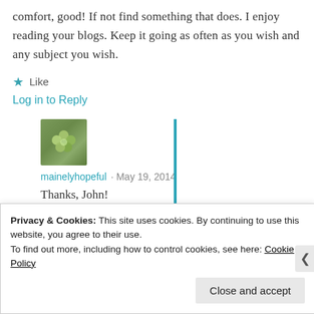comfort, good! If not find something that does. I enjoy reading your blogs. Keep it going as often as you wish and any subject you wish.
★ Like
Log in to Reply
[Figure (photo): Avatar thumbnail of mainelyhopeful — green flowers/plant image]
mainelyhopeful · May 19, 2014
Thanks, John!
Privacy & Cookies: This site uses cookies. By continuing to use this website, you agree to their use.
To find out more, including how to control cookies, see here: Cookie Policy